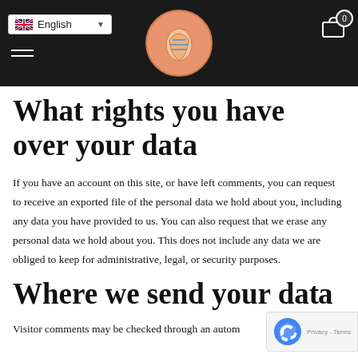English [dropdown] | Logo | Cart (0)
What rights you have over your data
If you have an account on this site, or have left comments, you can request to receive an exported file of the personal data we hold about you, including any data you have provided to us. You can also request that we erase any personal data we hold about you. This does not include any data we are obliged to keep for administrative, legal, or security purposes.
Where we send your data
Visitor comments may be checked through an autom...